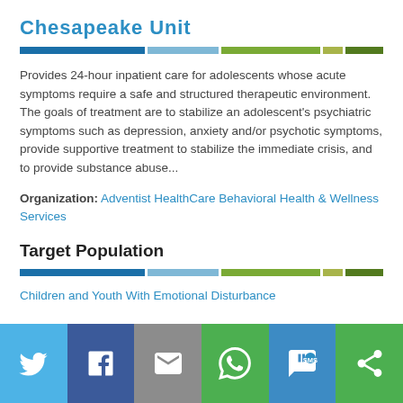Chesapeake Unit
Provides 24-hour inpatient care for adolescents whose acute symptoms require a safe and structured therapeutic environment. The goals of treatment are to stabilize an adolescent's psychiatric symptoms such as depression, anxiety and/or psychotic symptoms, provide supportive treatment to stabilize the immediate crisis, and to provide substance abuse...
Organization: Adventist HealthCare Behavioral Health & Wellness Services
Target Population
Children and Youth With Emotional Disturbance
[Figure (other): Social media sharing bar with Twitter, Facebook, Email, WhatsApp, SMS, and Share buttons]